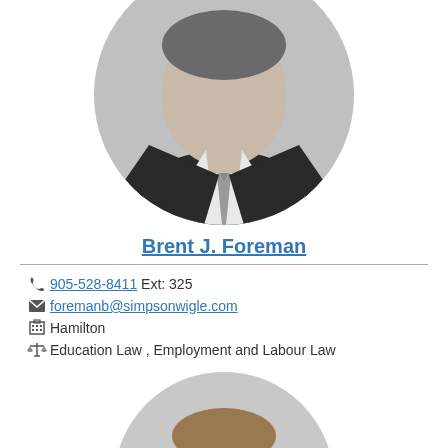[Figure (photo): Black and white circular portrait photo of Brent J. Foreman in a dark suit and patterned tie]
Brent J. Foreman
905-528-8411 Ext: 325
foremanb@simpsonwigle.com
Hamilton
Education Law , Employment and Labour Law
[Figure (photo): Black and white circular portrait photo of a second lawyer, partially visible]